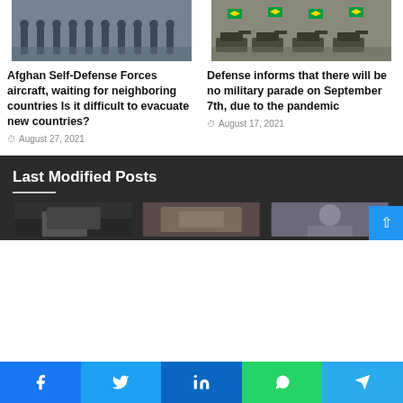[Figure (photo): Military personnel in uniform standing in formation, saluting]
[Figure (photo): Military tanks in parade with Brazilian flags]
Afghan Self-Defense Forces aircraft, waiting for neighboring countries Is it difficult to evacuate new countries?
August 27, 2021
Defense informs that there will be no military parade on September 7th, due to the pandemic
August 17, 2021
Last Modified Posts
[Figure (photo): Dark image of a laptop or tablet on desk]
[Figure (photo): Laptop with something on screen]
[Figure (photo): Person standing, possibly an interview or portrait]